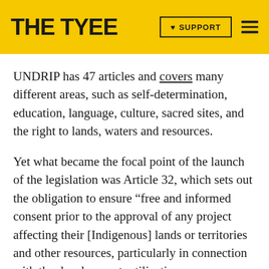THE TYEE | SUPPORT
UNDRIP has 47 articles and covers many different areas, such as self-determination, education, language, culture, sacred sites, and the right to lands, waters and resources.
Yet what became the focal point of the launch of the legislation was Article 32, which sets out the obligation to ensure “free and informed consent prior to the approval of any project affecting their [Indigenous] lands or territories and other resources, particularly in connection with the development, utilization or exploitation of mineral, water or other resources.”
Some people fear that offers veto power, and that